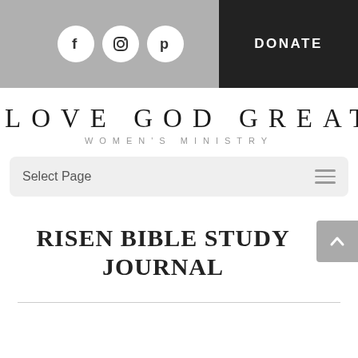Social icons (Facebook, Instagram, Pinterest) | DONATE
LOVE GOD GREATLY WOMEN'S MINISTRY
Select Page
RISEN BIBLE STUDY JOURNAL